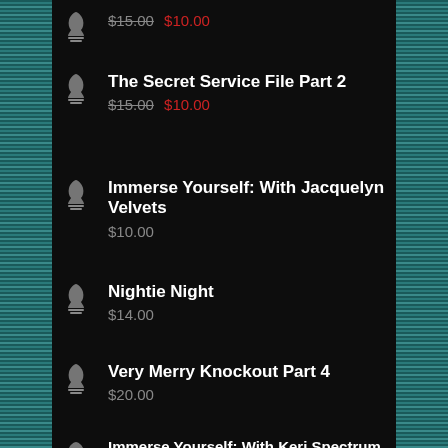$15.00 $10.00
The Secret Service File Part 2
$15.00 $10.00
Immerse Yourself: With Jacquelyn Velvets
$10.00
Nightie Night
$14.00
Very Merry Knockout Part 4
$20.00
Immerse Yourself: With Keri Spectrum
$11.00